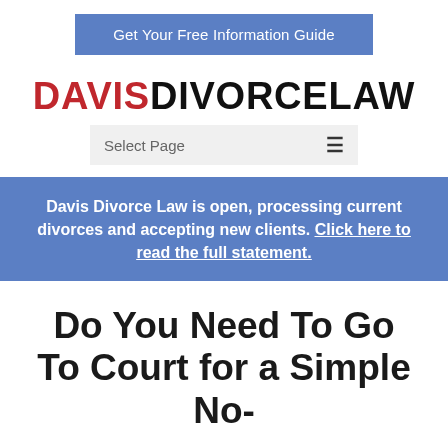Get Your Free Information Guide
DAVISDIVORCELAW
Select Page
Davis Divorce Law is open, processing current divorces and accepting new clients. Click here to read the full statement.
Do You Need To Go To Court for a Simple No-